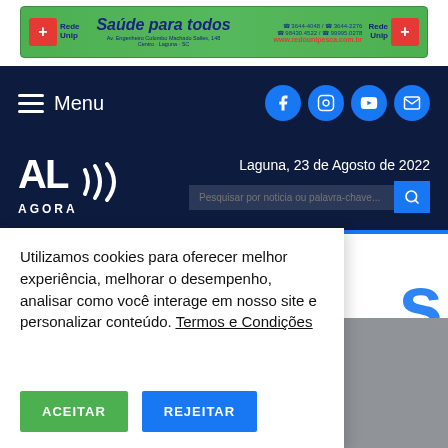[Figure (illustration): Green advertisement banner for Rede Unip / Saúde para todos with logos, address and phone numbers]
Menu | Facebook | Instagram | YouTube | Email icons
[Figure (logo): AL Agora logo with sound wave graphic and date Laguna, 23 de Agosto de 2022, and search bar]
Utilizamos cookies para oferecer melhor experiência, melhorar o desempenho, analisar como você interage em nosso site e personalizar conteúdo. Termos e Condições
ACEITAR
REJEITAR